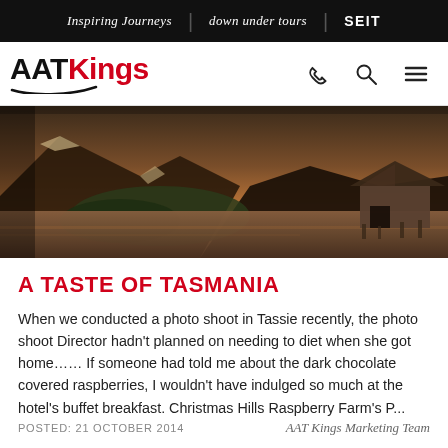Inspiring Journeys | down under tours | SEIT
[Figure (logo): AAT Kings logo with red 'Kings' text and swoosh underline, plus phone, search, and menu icons]
[Figure (photo): Scenic Tasmanian landscape with a lake, mountains, and a wooden boathouse at dusk/dawn]
A TASTE OF TASMANIA
When we conducted a photo shoot in Tassie recently, the photo shoot Director hadn't planned on needing to diet when she got home…… If someone had told me about the dark chocolate covered raspberries, I wouldn't have indulged so much at the hotel's buffet breakfast. Christmas Hills Raspberry Farm's P...
POSTED: 21 OCTOBER 2014 | AAT Kings Marketing Team